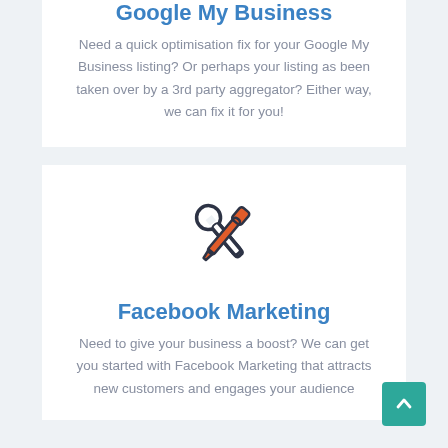Google My Business
Need a quick optimisation fix for your Google My Business listing? Or perhaps your listing as been taken over by a 3rd party aggregator? Either way, we can fix it for you!
[Figure (illustration): Crossed screwdriver and wrench icon in dark outline with orange screwdriver accent]
Facebook Marketing
Need to give your business a boost? We can get you started with Facebook Marketing that attracts new customers and engages your audience